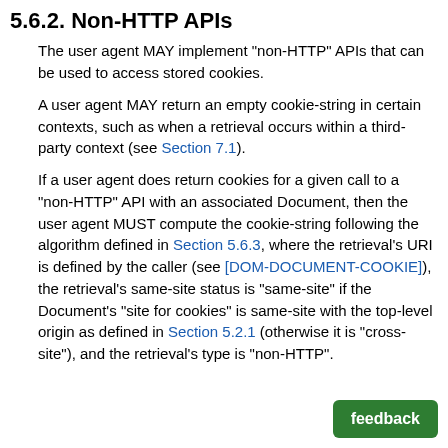5.6.2. Non-HTTP APIs
The user agent MAY implement "non-HTTP" APIs that can be used to access stored cookies.
A user agent MAY return an empty cookie-string in certain contexts, such as when a retrieval occurs within a third-party context (see Section 7.1).
If a user agent does return cookies for a given call to a "non-HTTP" API with an associated Document, then the user agent MUST compute the cookie-string following the algorithm defined in Section 5.6.3, where the retrieval's URI is defined by the caller (see [DOM-DOCUMENT-COOKIE]), the retrieval's same-site status is "same-site" if the Document's "site for cookies" is same-site with the top-level origin as defined in Section 5.2.1 (otherwise it is "cross-site"), and the retrieval's type is "non-HTTP".